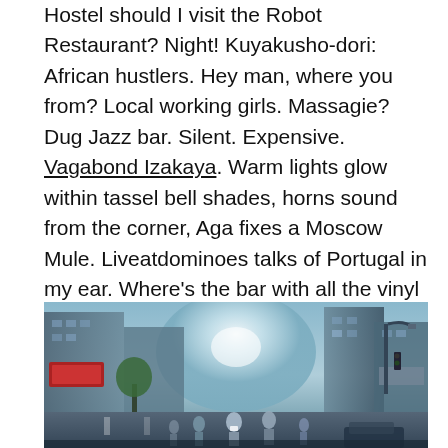Hostel should I visit the Robot Restaurant? Night! Kuyakusho-dori: African hustlers. Hey man, where you from? Local working girls. Massagie? Dug Jazz bar. Silent. Expensive. Vagabond Izakaya. Warm lights glow within tassel bell shades, horns sound from the corner, Aga fixes a Moscow Mule. Liveatdominoes talks of Portugal in my ear. Where's the bar with all the vinyl records I visited in 2017?
[Figure (photo): Street-level photograph of a busy urban intersection in Japan (likely Tokyo/Shinjuku area), showing tall buildings, street lamps, pedestrians crossing, trees, and bright sunlight glare in the center background.]